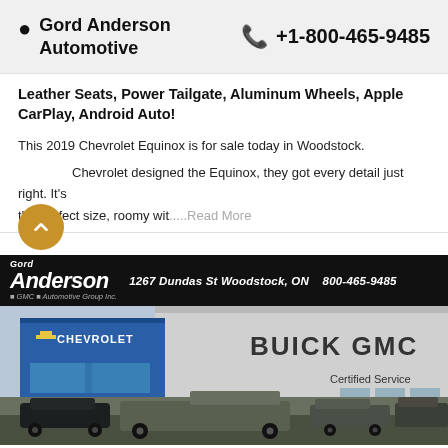Gord Anderson Automotive  +1-800-465-9485
Leather Seats, Power Tailgate, Aluminum Wheels, Apple CarPlay, Android Auto!
This 2019 Chevrolet Equinox is for sale today in Woodstock.

Chevrolet designed the Equinox, they got every detail just right. It's the perfect size, roomy wit.....Read More
[Figure (photo): Gord Anderson Automotive Group dealership exterior showing Chevrolet and Buick GMC signage with vehicles in the lot. Address: 1267 Dundas St Woodstock, ON. Phone: 800-465-9485.]